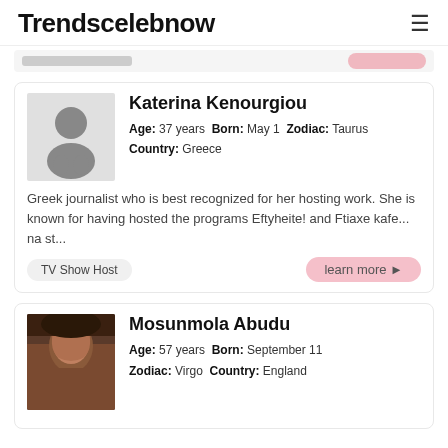Trendscelebnow
Katerina Kenourgiou
Age: 37 years Born: May 1 Zodiac: Taurus Country: Greece
Greek journalist who is best recognized for her hosting work. She is known for having hosted the programs Eftyheite! and Ftiaxe kafe... na st...
TV Show Host
learn more
Mosunmola Abudu
Age: 57 years Born: September 11 Zodiac: Virgo Country: England